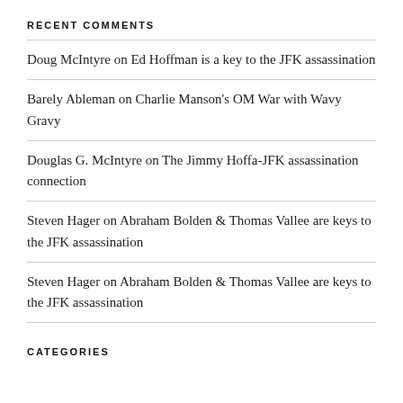RECENT COMMENTS
Doug McIntyre on Ed Hoffman is a key to the JFK assassination
Barely Ableman on Charlie Manson's OM War with Wavy Gravy
Douglas G. McIntyre on The Jimmy Hoffa-JFK assassination connection
Steven Hager on Abraham Bolden & Thomas Vallee are keys to the JFK assassination
Steven Hager on Abraham Bolden & Thomas Vallee are keys to the JFK assassination
CATEGORIES